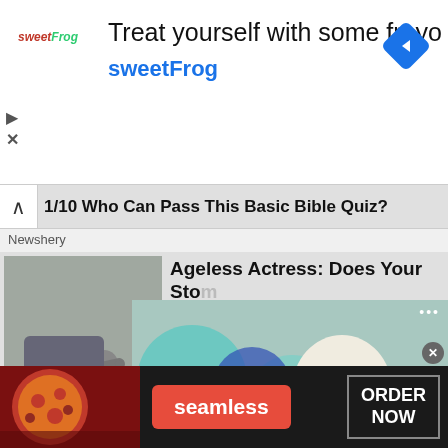[Figure (screenshot): SweetFrog advertisement banner with logo, headline 'Treat yourself with some froyo', subtext 'sweetFrog', and blue diamond navigation icon]
Treat yourself with some froyo
sweetFrog
1/10 Who Can Pass This Basic Bible Quiz?
Newshery
[Figure (photo): Woman doing yoga/plank pose on mat near wooden blocks]
Ageless Actress: Does Your Sto... Wha...
ww2.e...
[Figure (screenshot): Video player showing washcloth bunnies craft tutorial with play button, skip controls, and expand button. Text: HOW TO MAKE WASHCLOTH BUNNIES]
You... your mobile phone.
grieftfn
[Figure (screenshot): Seamless food delivery advertisement with pizza image, seamless red button, and ORDER NOW button on dark background]